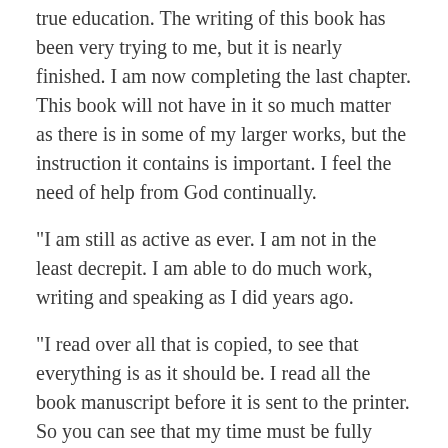true education. The writing of this book has been very trying to me, but it is nearly finished. I am now completing the last chapter. This book will not have in it so much matter as there is in some of my larger works, but the instruction it contains is important. I feel the need of help from God continually.
"I am still as active as ever. I am not in the least decrepit. I am able to do much work, writing and speaking as I did years ago.
"I read over all that is copied, to see that everything is as it should be. I read all the book manuscript before it is sent to the printer. So you can see that my time must be fully occupied" (Letter 133, 1902).